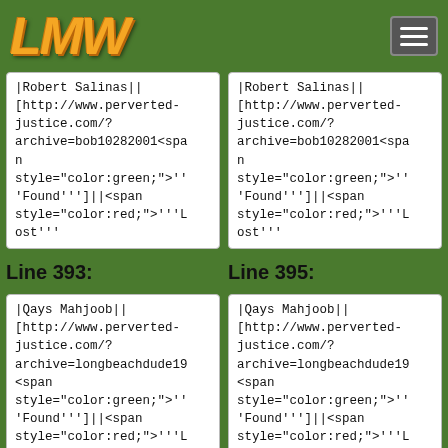LMW
|Robert Salinas||[http://www.perverted-justice.com/?archive=bob10282001<span style="color:green;">'''Found''']]||<span style="color:red;">'''Lost'''
|Robert Salinas||[http://www.perverted-justice.com/?archive=bob10282001<span style="color:green;">'''Found''']]||<span style="color:red;">'''Lost'''
Line 393:
Line 395:
|Qays Mahjoob||[http://www.perverted-justice.com/?archive=longbeachdude19<span style="color:green;">'''Found''']]||<span style="color:red;">'''L
|Qays Mahjoob||[http://www.perverted-justice.com/?archive=longbeachdude19<span style="color:green;">'''Found''']]||<span style="color:red;">'''L